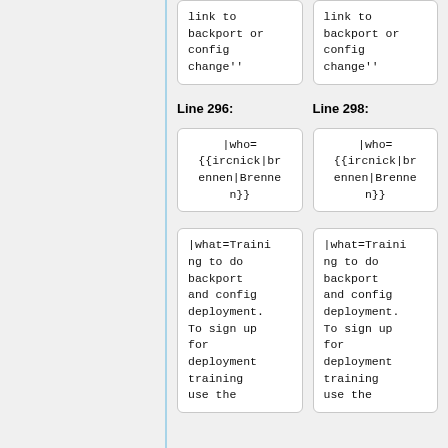link to backport or config change''
link to backport or config change''
Line 296:
Line 298:
|who={{ircnick|brennen|Brennen}}
|who={{ircnick|brennen|Brennen}}
|what=Training to do backport and config deployment. To sign up for deployment training use the
|what=Training to do backport and config deployment. To sign up for deployment training use the